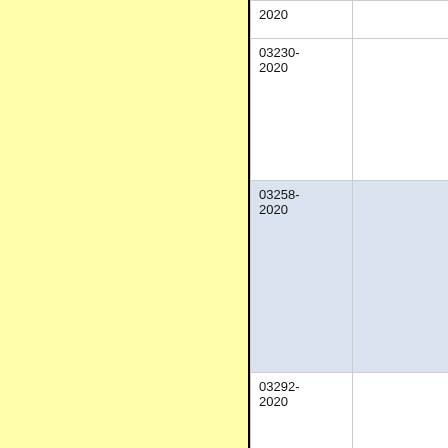| Case Number | Details |
| --- | --- |
| 2020 |  |
| 03230-2020 |  |
| 03258-2020 |  |
| 03292-2020 |  |